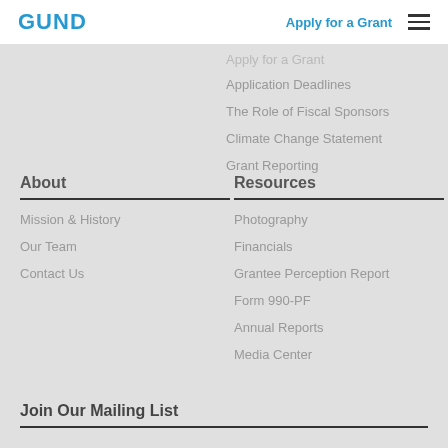GUND | Apply for a Grant
Apply for a Grant
Application Deadlines
The Role of Fiscal Sponsors
Climate Change Statement
Grant Reporting
About
Mission & History
Our Team
Contact Us
Resources
Photography
Financials
Grantee Perception Report
Form 990-PF
Annual Reports
Media Center
Join Our Mailing List
First Name
Last Name